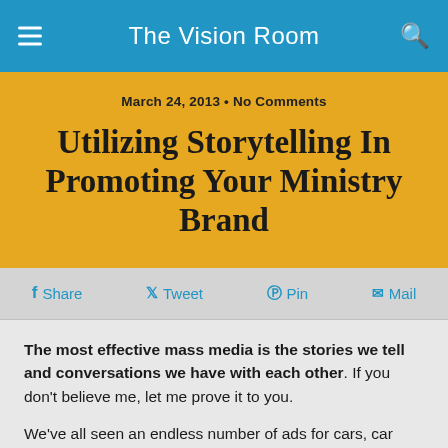The Vision Room
March 24, 2013 • No Comments
Utilizing Storytelling In Promoting Your Ministry Brand
Share  Tweet  Pin  Mail
The most effective mass media is the stories we tell and conversations we have with each other. If you don't believe me, let me prove it to you.
We've all seen an endless number of ads for cars, car dealerships, and the like. If I think really hard, I may be